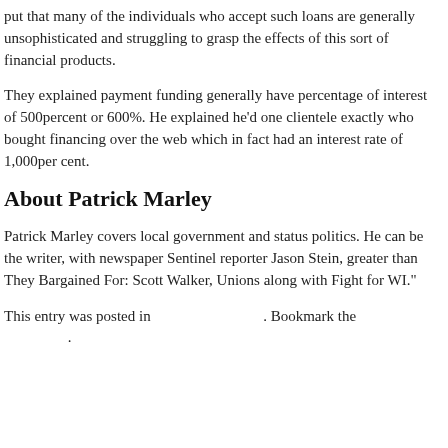put that many of the individuals who accept such loans are generally unsophisticated and struggling to grasp the effects of this sort of financial products.
They explained payment funding generally have percentage of interest of 500percent or 600%. He explained he'd one clientele exactly who bought financing over the web which in fact had an interest rate of 1,000per cent.
About Patrick Marley
Patrick Marley covers local government and status politics. He can be the writer, with newspaper Sentinel reporter Jason Stein, greater than They Bargained For: Scott Walker, Unions along with Fight for WI."
This entry was posted in . Bookmark the .